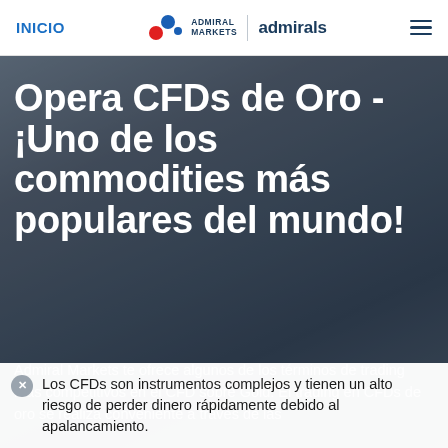INICIO | Admiral Markets admirals | ☰
Opera CFDs de Oro - ¡Uno de los commodities más populares del mundo!
Admiral Markets te ofrece algunos de los términos de trading más competitivos en el CFD sobre Gold. El trading en CFDs de oro se realiza conveniente a través de las
Los CFDs son instrumentos complejos y tienen un alto riesgo de perder dinero rápidamente debido al apalancamiento.